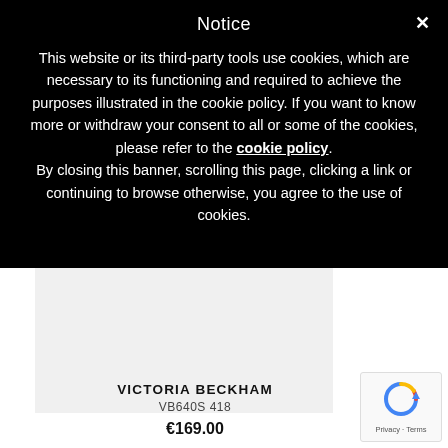Notice
This website or its third-party tools use cookies, which are necessary to its functioning and required to achieve the purposes illustrated in the cookie policy. If you want to know more or withdraw your consent to all or some of the cookies, please refer to the cookie policy. By closing this banner, scrolling this page, clicking a link or continuing to browse otherwise, you agree to the use of cookies.
[Figure (other): Grey product image placeholder box]
VICTORIA BECKHAM
VB640S 418
€169.00